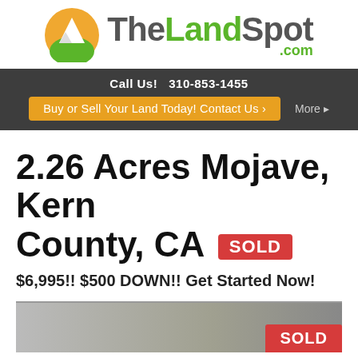[Figure (logo): TheLandSpot.com logo with mountain/sun icon and green/gray text]
Call Us! 310-853-1455
Buy or Sell Your Land Today! Contact Us ›   More ›
2.26 Acres Mojave, Kern County, CA SOLD
$6,995!! $500 DOWN!! Get Started Now!
[Figure (photo): Aerial or land photo with SOLD badge overlay]